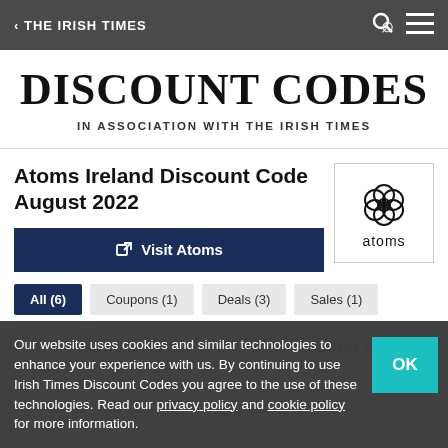< THE IRISH TIMES
DISCOUNT CODES
IN ASSOCIATION WITH THE IRISH TIMES
Atoms Ireland Discount Code August 2022
Visit Atoms
[Figure (logo): Atoms brand logo — a flower-shaped geometric icon above the word 'atoms']
All (6)
Coupons (1)
Deals (3)
Sales (1)
Active Atoms Ireland Promo, Discount and Voucher Codes August 2022
Our website uses cookies and similar technologies to enhance your experience with us. By continuing to use Irish Times Discount Codes you agree to the use of these technologies. Read our privacy policy and cookie policy for more information.